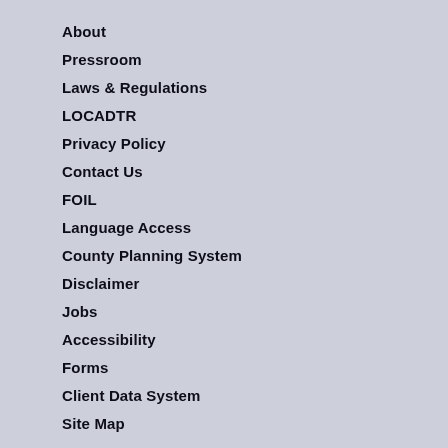About
Pressroom
Laws & Regulations
LOCADTR
Privacy Policy
Contact Us
FOIL
Language Access
County Planning System
Disclaimer
Jobs
Accessibility
Forms
Client Data System
Site Map